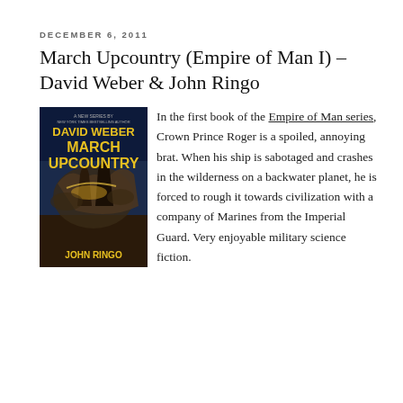DECEMBER 6, 2011
March Upcountry (Empire of Man I) – David Weber & John Ringo
[Figure (photo): Book cover of March Upcountry by David Weber and John Ringo, showing fantasy/sci-fi battle scene with yellow title text on dark background]
In the first book of the Empire of Man series, Crown Prince Roger is a spoiled, annoying brat. When his ship is sabotaged and crashes in the wilderness on a backwater planet, he is forced to rough it towards civilization with a company of Marines from the Imperial Guard. Very enjoyable military science fiction.